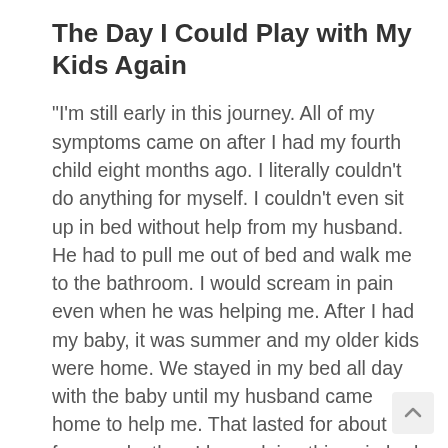The Day I Could Play with My Kids Again
“I’m still early in this journey. All of my symptoms came on after I had my fourth child eight months ago. I literally couldn’t do anything for myself. I couldn’t even sit up in bed without help from my husband. He had to pull me out of bed and walk me to the bathroom. I would scream in pain even when he was helping me. After I had my baby, it was summer and my older kids were home. We stayed in my bed all day with the baby until my husband came home to help me. That lasted for about four weeks then I bega doing things in bed like stretching and just lifting my legs and arms. I slowly got